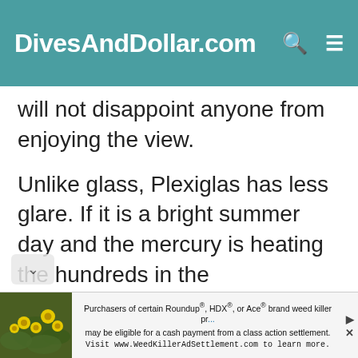DivesAndDollar.com
will not disappoint anyone from enjoying the view.
Unlike glass, Plexiglas has less glare. If it is a bright summer day and the mercury is heating the hundreds in the thermometer, glass fences will pile up a few extra degrees on it. But this will not be the same in Plexiglas. It will tone down both the light and heat.
[Figure (other): Advertisement banner: Roundup/HDX/Ace brand weed killer class action settlement. Visit www.WeedKillerAdSettlement.com to learn more. Includes a photo of yellow flowers and green leaves.]